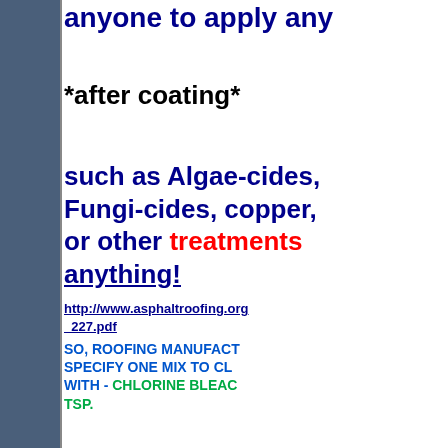anyone to apply any
*after coating*
such as Algae-cides, Fungi-cides, copper, or other treatments or anything!
http://www.asphaltroofing.org/_227.pdf
SO, ROOFING MANUFACTURERS SPECIFY ONE MIX TO CLEAN WITH - CHLORINE BLEACH AND TSP.